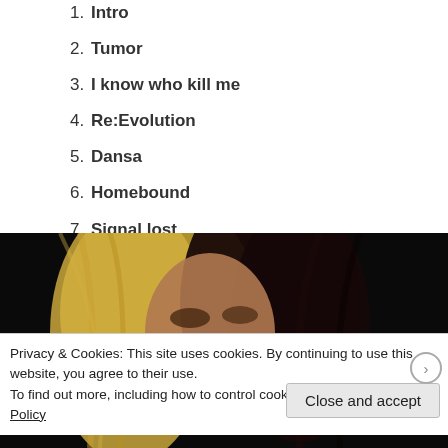1. Intro
2. Tumor
3. I know who kill me
4. Re:Evolution
5. Dansa
6. Homebound
7. Signal lost
8. Attack
[Figure (photo): A person with half-blonde, half-dark hair, looking down, performing on stage against a black background.]
Privacy & Cookies: This site uses cookies. By continuing to use this website, you agree to their use.
To find out more, including how to control cookies, see here: Cookie Policy
Close and accept